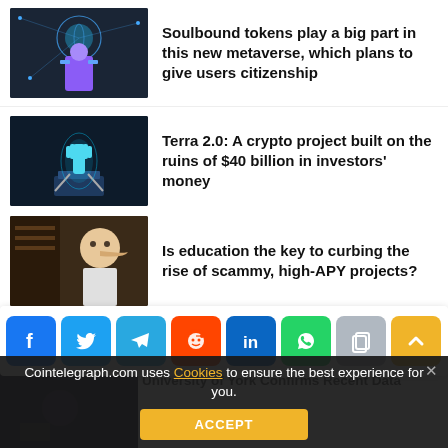[Figure (illustration): Metaverse illustration with VR figure and network globe]
Soulbound tokens play a big part in this new metaverse, which plans to give users citizenship
[Figure (illustration): Glowing hand breaking free from chains on pedestal - Terra 2.0 concept]
Terra 2.0: A crypto project built on the ruins of $40 billion in investors' money
[Figure (illustration): Man with elongated nose - scam/education concept art]
Is education the key to curbing the rise of scammy, high-APY projects?
[Figure (infographic): Social share buttons: Facebook, Twitter, Telegram, Reddit, LinkedIn, WhatsApp, Copy, Scroll-top]
[Figure (screenshot): Dark thumbnail for University of York article]
University of York Confirms Recent Data
Cointelegraph.com uses Cookies to ensure the best experience for you.
ACCEPT